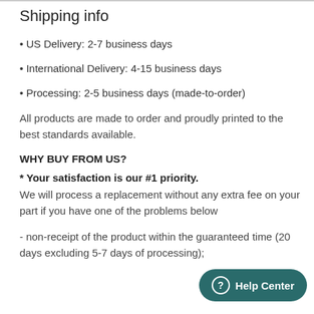Shipping info
US Delivery: 2-7 business days
International Delivery: 4-15 business days
Processing: 2-5 business days (made-to-order)
All products are made to order and proudly printed to the best standards available.
WHY BUY FROM US?
* Your satisfaction is our #1 priority.
We will process a replacement without any extra fee on your part if you have one of the problems below
- non-receipt of the product within the guaranteed time (20 days excluding 5-7 days of processing);